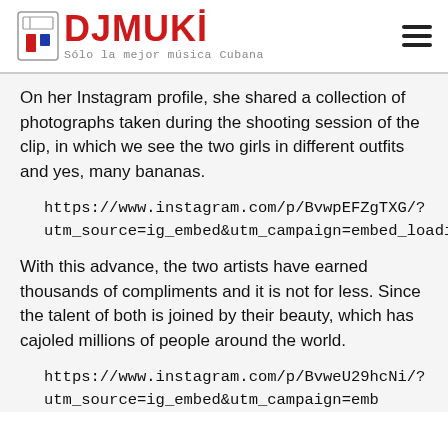DJ MUKI — Sólo la mejor música Cubana
On her Instagram profile, she shared a collection of photographs taken during the shooting session of the clip, in which we see the two girls in different outfits and yes, many bananas.
https://www.instagram.com/p/BvwpEFZgTXG/?utm_source=ig_embed&utm_campaign=embed_loading_state_control
With this advance, the two artists have earned thousands of compliments and it is not for less. Since the talent of both is joined by their beauty, which has cajoled millions of people around the world.
https://www.instagram.com/p/BvweU29hcNi/?utm_source=ig_embed&utm_campaign=embed_loading_state_control